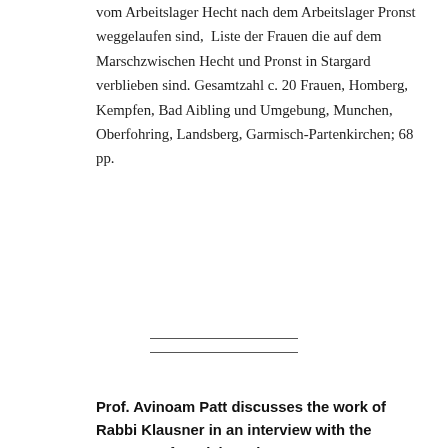vom Arbeitslager Hecht nach dem Arbeitslager Pronst weggelaufen sind, Liste der Frauen die auf dem Marschzwischen Hecht und Pronst in Stargard verblieben sind. Gesamtzahl c. 20 Frauen, Homberg, Kempfen, Bad Aibling und Umgebung, Munchen, Oberfohring, Landsberg, Garmisch-Partenkirchen; 68 pp.
Prof. Avinoam Patt discusses the work of Rabbi Klausner in an interview with the Museum of Jewish Heritage
[Figure (screenshot): Video thumbnail showing Rabbi Abraham Klausner, Abraham Klausner and the S... with play button and channel icon]